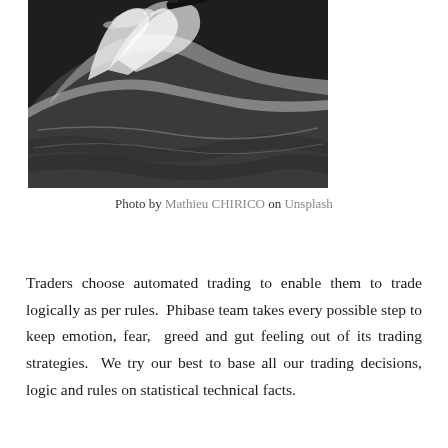[Figure (photo): Black and white photograph of a surfer on a large breaking wave with dramatic spray and turbulent water]
Photo by Mathieu CHIRICO on Unsplash
Traders choose automated trading to enable them to trade logically as per rules.  Phibase team takes every possible step to keep emotion, fear,  greed and gut feeling out of its trading strategies.  We try our best to base all our trading decisions, logic and rules on statistical technical facts.